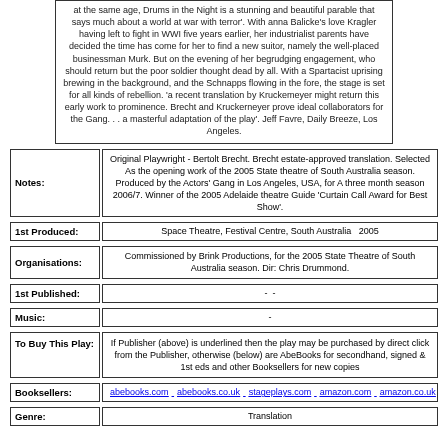at the same age. Drums in the Night is a stunning and beautiful parable that says much about a world at war with terror'. With anna Balicke's love Kragler having left to fight in WWI five years earlier, her industrialist parents have decided the time has come for her to find a new suitor, namely the well-placed businessman Murk. But on the evening of her begrudging engagement, who should return but the poor soldier thought dead by all. With a Spartacist uprising brewing in the background, and the Schnapps flowing in the fore, the stage is set for all kinds of rebellion. 'a recent translation by Kruckemeyer might return this early work to prominence. Brecht and Kruckerneyer prove ideal collaborators for the Gang. . . a masterful adaptation of the play'. Jeff Favre, Daily Breeze, Los Angeles.
Notes: Original Playwright - Bertolt Brecht. Brecht estate-approved translation. Selected As the opening work of the 2005 State theatre of South Australia season. Produced by the Actors' Gang in Los Angeles, USA, for A three month season 2006/7. Winner of the 2005 Adelaide theatre Guide 'Curtain Call Award for Best Show'.
1st Produced: Space Theatre, Festival Centre, South Australia    2005
Organisations: Commissioned by Brink Productions, for the 2005 State Theatre of South Australia season. Dir: Chris Drummond.
1st Published: -  -
Music: -
To Buy This Play: If Publisher (above) is underlined then the play may be purchased by direct click from the Publisher, otherwise (below) are AbeBooks for secondhand, signed & 1st eds and other Booksellers for new copies
Booksellers: abebooks.com  abebooks.co.uk  stageplays.com  amazon.com  amazon.co.uk  am...
Genre: Translation